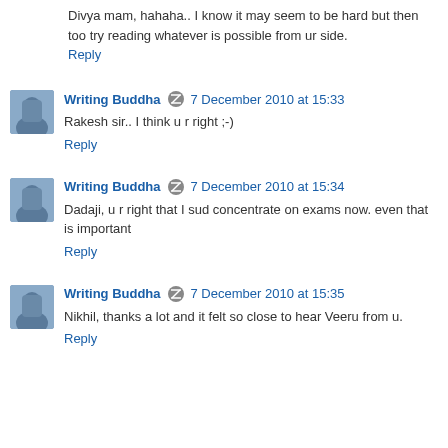Divya mam, hahaha.. I know it may seem to be hard but then too try reading whatever is possible from ur side.
Reply
Writing Buddha  7 December 2010 at 15:33
Rakesh sir.. I think u r right ;-)
Reply
Writing Buddha  7 December 2010 at 15:34
Dadaji, u r right that I sud concentrate on exams now. even that is important
Reply
Writing Buddha  7 December 2010 at 15:35
Nikhil, thanks a lot and it felt so close to hear Veeru from u.
Reply